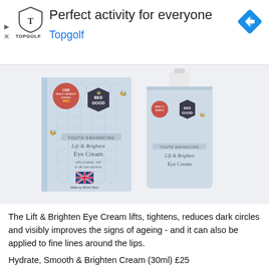[Figure (screenshot): Advertisement banner for Topgolf with shield logo, headline 'Perfect activity for everyone', subline 'Topgolf' in blue, and a blue navigation/directions diamond icon on the right. Small play and X icons on the left.]
[Figure (photo): Product photo of Bee Good 'Youth Enhancing Lift & Brighten Eye Cream' showing the light blue box packaging and the airless pump bottle with BEE GOOD hexagonal logo, UK flag, and a CIH Beauty Awards Winner 2015 seal.]
The Lift & Brighten Eye Cream lifts, tightens, reduces dark circles and visibly improves the signs of ageing - and it can also be applied to fine lines around the lips.
Hydrate, Smooth & Brighten Cream (30ml) £25